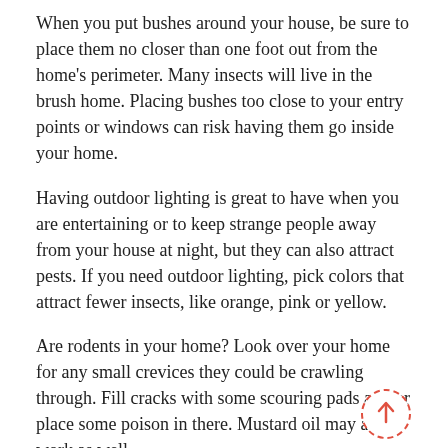When you put bushes around your house, be sure to place them no closer than one foot out from the home's perimeter. Many insects will live in the brush home. Placing bushes too close to your entry points or windows can risk having them go inside your home.
Having outdoor lighting is great to have when you are entertaining or to keep strange people away from your house at night, but they can also attract pests. If you need outdoor lighting, pick colors that attract fewer insects, like orange, pink or yellow.
Are rodents in your home? Look over your home for any small crevices they could be crawling through. Fill cracks with some scouring pads and/or place some poison in there. Mustard oil may also work as well.
Mice will come into your trailer if you leave it in campers stored outside throughout the fall or winter. Many natural repellents work to keep them out of your camper. Small